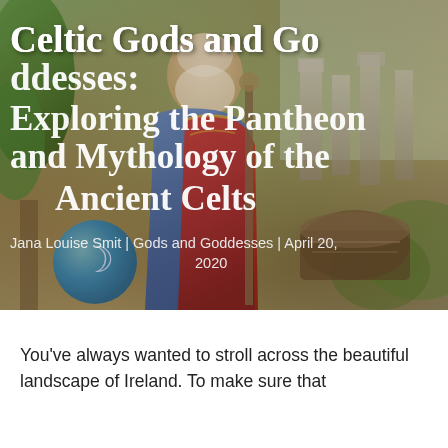[Figure (photo): Hero image of a painting depicting a Celtic druid figure in blue and red robes, holding a staff, with a globe/earth at his feet showing a crescent moon symbol, standing before stone columns and trees, likely Stonehenge in background.]
Celtic Gods and Goddesses: Exploring the Pantheon and Mythology of the Ancient Celts
Jana Louise Smit | Gods and Goddesses | April 20, 2020
You've always wanted to stroll across the beautiful landscape of Ireland. To make sure that